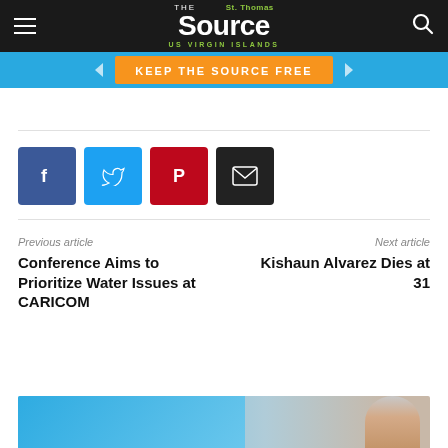THE St. Thomas Source US VIRGIN ISLANDS
[Figure (infographic): Cyan banner with orange button reading KEEP THE SOURCE FREE]
[Figure (infographic): Social share buttons: Facebook, Twitter, Pinterest, Email]
Previous article
Conference Aims to Prioritize Water Issues at CARICOM
Next article
Kishaun Alvarez Dies at 31
[Figure (photo): Partial photo of a person against a blue/grey background, cropped at bottom of page]